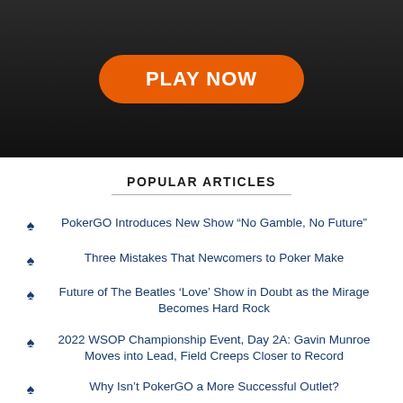[Figure (illustration): Dark background banner image with an orange pill-shaped button reading PLAY NOW in white bold text]
POPULAR ARTICLES
PokerGO Introduces New Show “No Gamble, No Future”
Three Mistakes That Newcomers to Poker Make
Future of The Beatles ‘Love’ Show in Doubt as the Mirage Becomes Hard Rock
2022 WSOP Championship Event, Day 2A: Gavin Munroe Moves into Lead, Field Creeps Closer to Record
Why Isn’t PokerGO a More Successful Outlet?
WPT World Championship in December to Feature $22 Million in Guaranteed Tournaments
2022 WSOP Championship Event Day 1D: Massive Outpouring of Players Drives Tournament Closer to Record